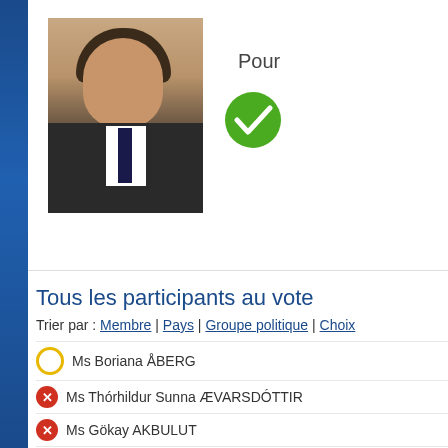[Figure (photo): Headshot photo of a man in dark suit with tie, on a white background card showing vote status 'Pour' with green checkmark]
Pour
Tous les participants au vote
Trier par : Membre | Pays | Groupe politique | Choix
Ms Boriana ÅBERG
Ms Thórhildur Sunna ÆVARSDÓTTIR
Ms Gökay AKBULUT
Mr Ziya ALTUNYALDIZ
Ms Iwona ARENT